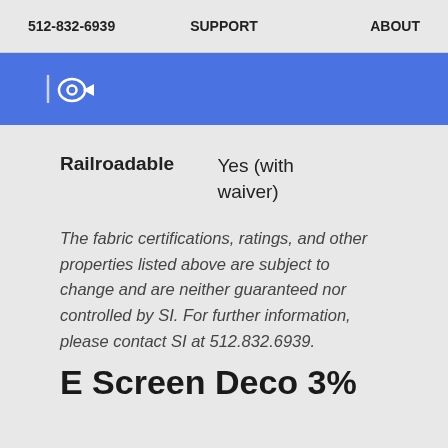512-832-6939   SUPPORT   ABOUT
[Figure (logo): Blue banner with a white eye/location pin icon logo]
| Railroadable | Yes (with waiver) |
The fabric certifications, ratings, and other properties listed above are subject to change and are neither guaranteed nor controlled by SI. For further information, please contact SI at 512.832.6939.
E Screen Deco 3%